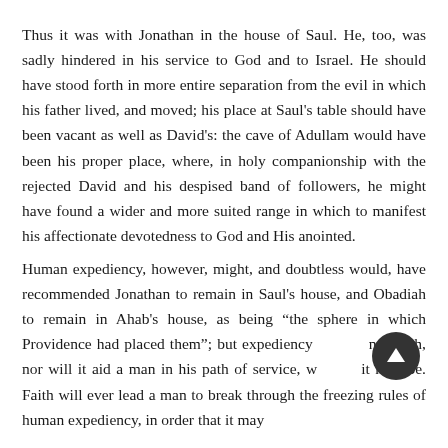Thus it was with Jonathan in the house of Saul. He, too, was sadly hindered in his service to God and to Israel. He should have stood forth in more entire separation from the evil in which his father lived, and moved; his place at Saul's table should have been vacant as well as David's: the cave of Adullam would have been his proper place, where, in holy companionship with the rejected David and his despised band of followers, he might have found a wider and more suited range in which to manifest his affectionate devotedness to God and His anointed.
Human expediency, however, might, and doubtless would, have recommended Jonathan to remain in Saul's house, and Obadiah to remain in Ahab's house, as being “the sphere in which Providence had placed them”; but expediency is not faith, nor will it aid a man in his path of service, whatever it may be. Faith will ever lead a man to break through the freezing rules of human expediency, in order that it may